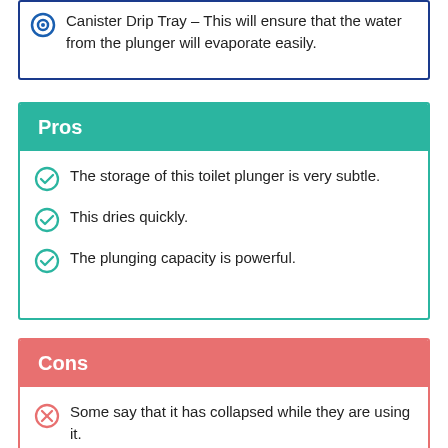Canister Drip Tray – This will ensure that the water from the plunger will evaporate easily.
Pros
The storage of this toilet plunger is very subtle.
This dries quickly.
The plunging capacity is powerful.
Cons
Some say that it has collapsed while they are using it.
This is a bit more expensive compared to other plungers.